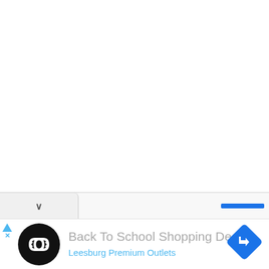[Figure (screenshot): Upper white blank area of a browser or app page]
[Figure (screenshot): A collapsible tab/accordion row with a chevron down icon on left and a blue progress/scroll indicator bar on the right]
[Figure (screenshot): Advertisement banner showing a black circular logo with chain-link icon, navigation arrow icon on right, ad marker triangles on far left]
Back To School Shopping Deals
Leesburg Premium Outlets